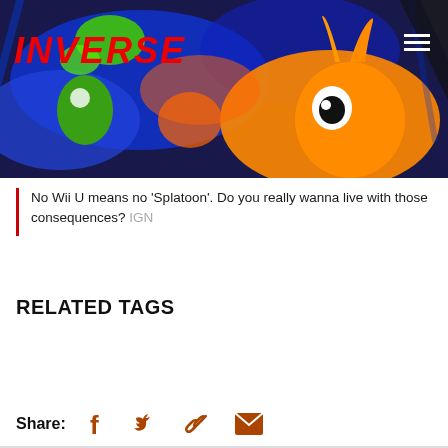[Figure (photo): Hero image showing colorful Splatoon game characters with orange squid/inkling character, blue and orange ink splatter, on dark background. INVERSE logo in red italic text top-left, hamburger menu top-right.]
No Wii U means no 'Splatoon'. Do you really wanna live with those consequences? IGN
RELATED TAGS
VIDEO GAMES
Share: